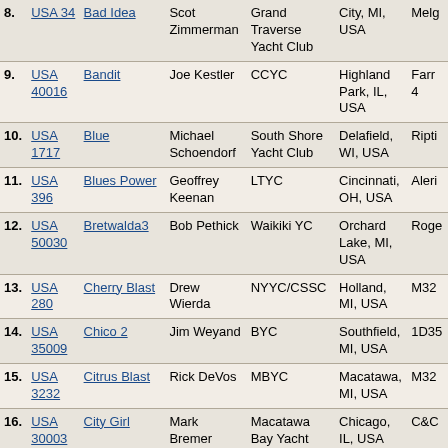| # | Sail | Boat | Skipper | Club | City | Design |
| --- | --- | --- | --- | --- | --- | --- |
| 8. | USA 34 | Bad Idea | Scot Zimmerman | Grand Traverse Yacht Club | City, MI, USA | Melg |
| 9. | USA 40016 | Bandit | Joe Kestler | CCYC | Highland Park, IL, USA | Farr 4 |
| 10. | USA 1717 | Blue | Michael Schoendorf | South Shore Yacht Club | Delafield, WI, USA | Ripti |
| 11. | USA 396 | Blues Power | Geoffrey Keenan | LTYC | Cincinnati, OH, USA | Aleri |
| 12. | USA 50030 | Bretwalda3 | Bob Pethick | Waikiki YC | Orchard Lake, MI, USA | Roge |
| 13. | USA 280 | Cherry Blast | Drew Wierda | NYYC/CSSC | Holland, MI, USA | M32 |
| 14. | USA 35009 | Chico 2 | Jim Weyand | BYC | Southfield, MI, USA | 1D35 |
| 15. | USA 3232 | Citrus Blast | Rick DeVos | MBYC | Macatawa, MI, USA | M32 |
| 16. | USA 30003 | City Girl | Mark Bremer | Macatawa Bay Yacht Club | Chicago, IL, USA | C&C |
| 17. | USA 21 | Convergence | Jen Wilson | Chicago yacht club | Chicago, IL, USA | M32 |
| 18. | USA 14 | Convexity | Donald Wilson | Chicago Match Race Center | Chicago, IL, USA | M32 |
| 19. | USA 52774 | Courtesan | Brad Kimmel & Dane Christy | Bayview Yacht Club | Grosse Pointe Park, MI, USA | Farr 4 |
| 20. | USA 370 | Creative Destruction | Carter Williams | AYC | St. Louis, MO, USA | J 105 |
| 21. | USA 007 | Crescendo | Martin Sutter | LTYC | Harbor Springs, MI, USA | Aleri |
| 22. | USA 84002 | Denali^2 | William McKinley | LTYC | Harbor Springs, MI, | Carl |